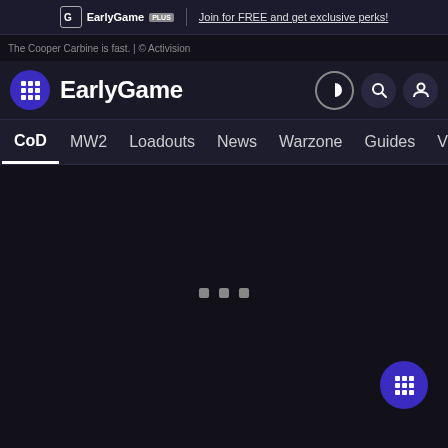EarlyGame PLUS | Join for FREE and get exclusive perks!
The Cooper Carbine is fast. | © Activision
EarlyGame
CoD  MW2  Loadouts  News  Warzone  Guides  Videos
[Figure (screenshot): Dark loading screen with three small gray squares in the center indicating a loading state, and a purple grid-icon floating button in the bottom right.]